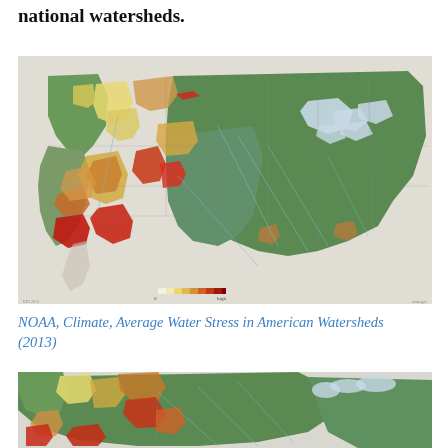national watersheds.
[Figure (map): Map of the United States showing average water stress in American watersheds. The western US shows high water stress areas in red and orange (particularly California, Nevada, Arizona, Utah, Colorado), with most of the eastern and northern US showing lower stress in green. A color gradient legend at the bottom ranges from beige/yellow (low stress) to red (high stress).]
NOAA, Climate, Average Water Stress in American Watersheds (2013)
[Figure (map): Partial view of a second map showing the western United States with similar water stress color coding — red, orange, and yellow areas indicating high water stress concentrated in the western region, with green areas in the east/northeast.]